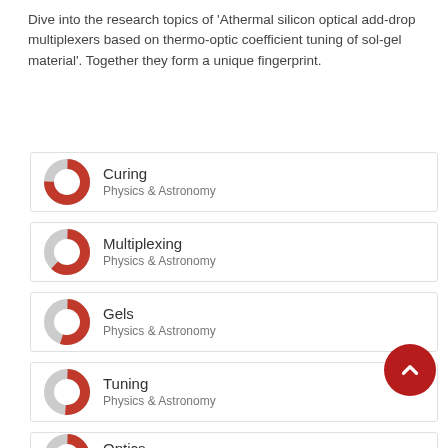Dive into the research topics of 'Athermal silicon optical add-drop multiplexers based on thermo-optic coefficient tuning of sol-gel material'. Together they form a unique fingerprint.
Curing
Physics & Astronomy
Multiplexing
Physics & Astronomy
Gels
Physics & Astronomy
Tuning
Physics & Astronomy
Optics
Physics & Astronomy